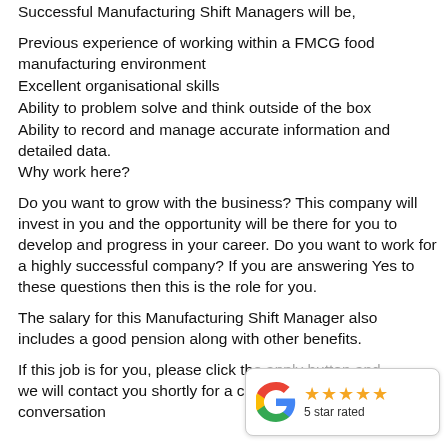Successful Manufacturing Shift Managers will be,
Previous experience of working within a FMCG food manufacturing environment
Excellent organisational skills
Ability to problem solve and think outside of the box
Ability to record and manage accurate information and detailed data.
Why work here?
Do you want to grow with the business? This company will invest in you and the opportunity will be there for you to develop and progress in your career. Do you want to work for a highly successful company? If you are answering Yes to these questions then this is the role for you.
The salary for this Manufacturing Shift Manager also includes a good pension along with other benefits.
If this job is for you, please click the apply button and we will contact you shortly for a confidential conversation
[Figure (logo): Google G logo with 5 gold stars and text '5 star rated']